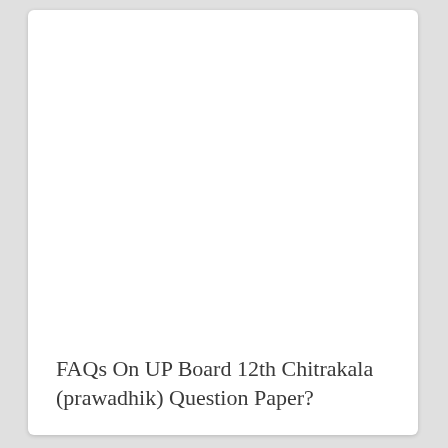FAQs On UP Board 12th Chitrakala (prawadhik) Question Paper?